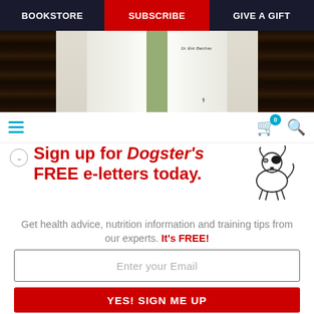BOOKSTORE | SUBSCRIBE | GIVE A GIFT
[Figure (screenshot): Website header with navigation bar showing BOOKSTORE, SUBSCRIBE (red background), GIVE A GIFT links on dark background, hamburger menu, cart icon with 0 badge, and search icon. Below is a hero photo of a person in a white lab coat with stethoscope and name tag reading Dr. Eric Barchas.]
Sign up for Dogster's FREE e-letters today.
Get health advice, nutrition information and training tips from our experts. It's FREE!
Enter your Email
YES! SIGN ME UP